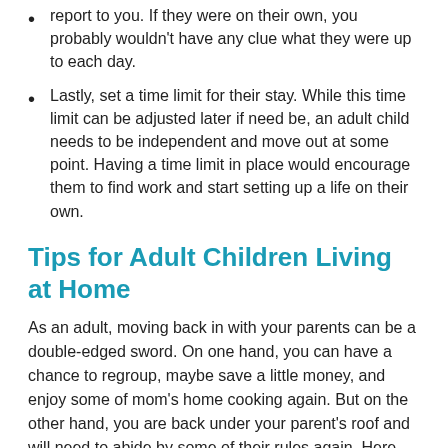report to you. If they were on their own, you probably wouldn't have any clue what they were up to each day.
Lastly, set a time limit for their stay. While this time limit can be adjusted later if need be, an adult child needs to be independent and move out at some point. Having a time limit in place would encourage them to find work and start setting up a life on their own.
Tips for Adult Children Living at Home
As an adult, moving back in with your parents can be a double-edged sword. On one hand, you can have a chance to regroup, maybe save a little money, and enjoy some of mom's home cooking again. But on the other hand, you are back under your parent's roof and will need to abide by some of their rules again. Here are a few things to help make that transition home again a little smoother:
Pay for as much as you can afford. Moving back home isn't a free ride, and you are an adult now. It's time to